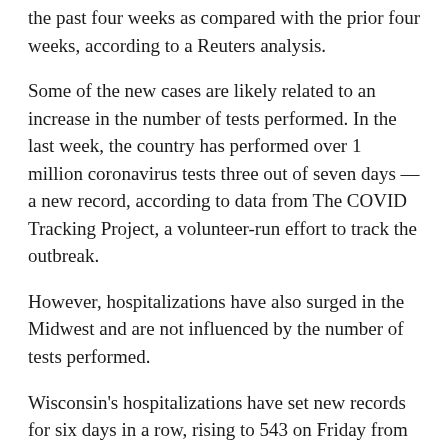the past four weeks as compared with the prior four weeks, according to a Reuters analysis.
Some of the new cases are likely related to an increase in the number of tests performed. In the last week, the country has performed over 1 million coronavirus tests three out of seven days — a new record, according to data from The COVID Tracking Project, a volunteer-run effort to track the outbreak.
However, hospitalizations have also surged in the Midwest and are not influenced by the number of tests performed.
Wisconsin's hospitalizations have set new records for six days in a row, rising to 543 on Friday from 342 a week ago. South Dakota's hospitalizations set records five times this week, rising to 213 on Saturday from 153 last week.